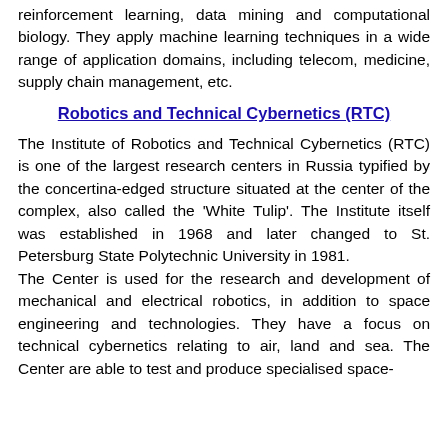reinforcement learning, data mining and computational biology. They apply machine learning techniques in a wide range of application domains, including telecom, medicine, supply chain management, etc.
Robotics and Technical Cybernetics (RTC)
The Institute of Robotics and Technical Cybernetics (RTC) is one of the largest research centers in Russia typified by the concertina-edged structure situated at the center of the complex, also called the 'White Tulip'. The Institute itself was established in 1968 and later changed to St. Petersburg State Polytechnic University in 1981. The Center is used for the research and development of mechanical and electrical robotics, in addition to space engineering and technologies. They have a focus on technical cybernetics relating to air, land and sea. The Center are able to test and produce specialised space-